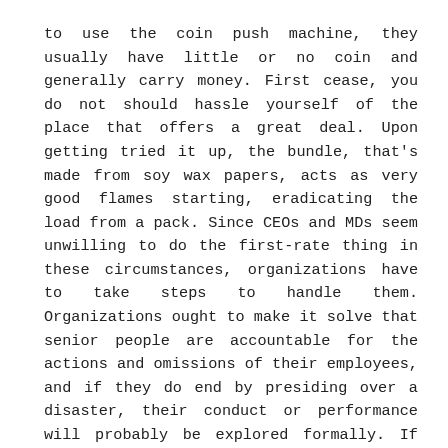to use the coin push machine, they usually have little or no coin and generally carry money. First cease, you do not should hassle yourself of the place that offers a great deal. Upon getting tried it up, the bundle, that's made from soy wax papers, acts as very good flames starting, eradicating the load from a pack. Since CEOs and MDs seem unwilling to do the first-rate thing in these circumstances, organizations have to take steps to handle them. Organizations ought to make it solve that senior people are accountable for the actions and omissions of their employees, and if they do end by presiding over a disaster, their conduct or performance will probably be explored formally. If the organization isn't happy, it will likely be grounds for dismissal.
In some cases, as with Barclays and Harringay Council, the organizations are accountable to the public in a broader approach. The older fashions only took coins